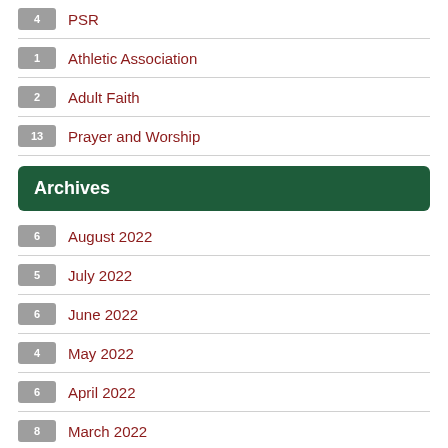4 PSR
1 Athletic Association
2 Adult Faith
13 Prayer and Worship
Archives
6 August 2022
5 July 2022
6 June 2022
4 May 2022
6 April 2022
8 March 2022